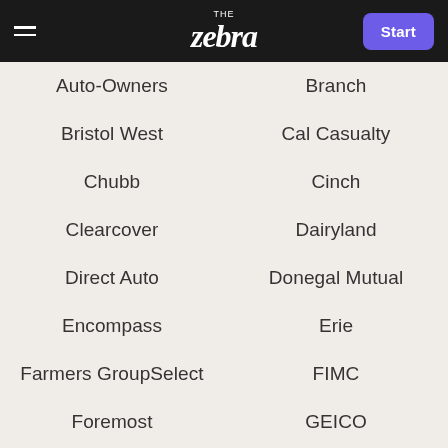THE zebra | Start
Auto-Owners
Branch
Bristol West
Cal Casualty
Chubb
Cinch
Clearcover
Dairyland
Direct Auto
Donegal Mutual
Encompass
Erie
Farmers GroupSelect
FIMC
Foremost
GEICO
General Casualty
Glacier
Grange Insurance
Harleysville
Hippo
Infinity